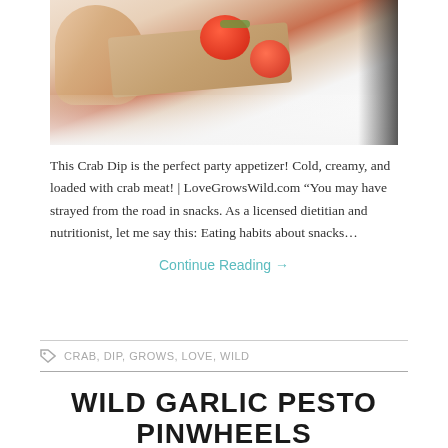[Figure (photo): A hand holding a bruschetta-style appetizer with tomatoes and herbs on toast, placed on a white plate. Dark corner on the right side.]
This Crab Dip is the perfect party appetizer! Cold, creamy, and loaded with crab meat! | LoveGrowsWild.com “You may have strayed from the road in snacks. As a licensed dietitian and nutritionist, let me say this: Eating habits about snacks…
Continue Reading →
CRAB, DIP, GROWS, LOVE, WILD
WILD GARLIC PESTO PINWHEELS